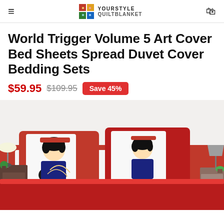YOURSTYLE QUILTBLANKET
World Trigger Volume 5 Art Cover Bed Sheets Spread Duvet Cover Bedding Sets
$59.95  $109.95  Save 45%
[Figure (photo): Product photo showing anime-themed bedding set with red and white pillowcases featuring a dark-haired anime character from World Trigger, displayed on a bed with wooden nightstands and a lamp on each side.]